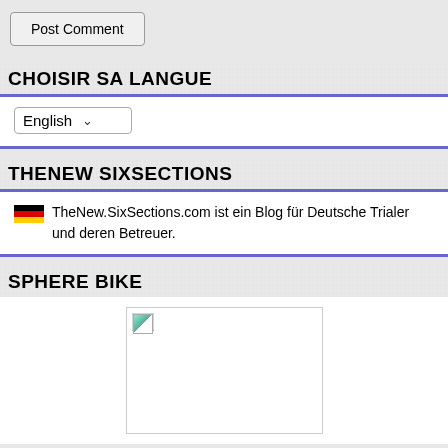Post Comment
CHOISIR SA LANGUE
English ▾
THENEW SIXSECTIONS
🇩🇪 TheNew.SixSections.com ist ein Blog für Deutsche Trialer und deren Betreuer.
SPHERE BIKE
[Figure (photo): Placeholder image for Sphere Bike section]